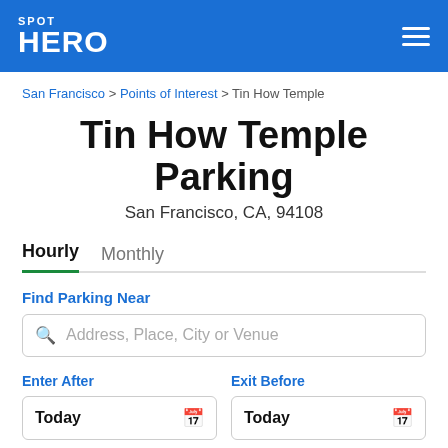SPOT HERO
San Francisco > Points of Interest > Tin How Temple
Tin How Temple Parking
San Francisco, CA, 94108
Hourly  Monthly
Find Parking Near
Address, Place, City or Venue
Enter After
Exit Before
Today
Today